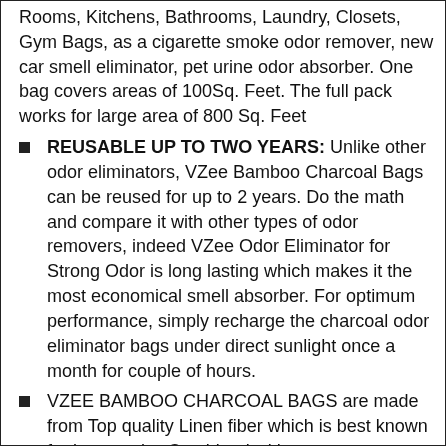Rooms, Kitchens, Bathrooms, Laundry, Closets, Gym Bags, as a cigarette smoke odor remover, new car smell eliminator, pet urine odor absorber. One bag covers areas of 100Sq. Feet. The full pack works for large area of 800 Sq. Feet
REUSABLE UP TO TWO YEARS: Unlike other odor eliminators, VZee Bamboo Charcoal Bags can be reused for up to 2 years. Do the math and compare it with other types of odor removers, indeed VZee Odor Eliminator for Strong Odor is long lasting which makes it the most economical smell absorber. For optimum performance, simply recharge the charcoal odor eliminator bags under direct sunlight once a month for couple of hours.
VZEE BAMBOO CHARCOAL BAGS are made from Top quality Linen fiber which is best known for its porosity. Combined with